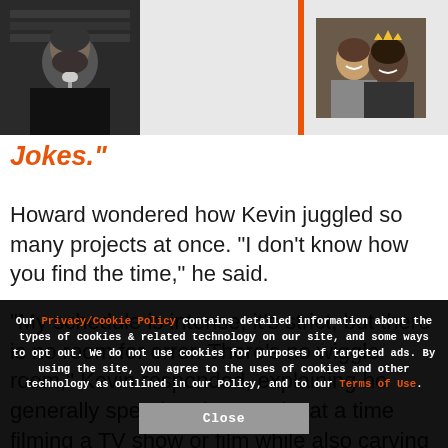[Figure (screenshot): Two video thumbnails side by side in a gray media bar. Left: a man with dark hair and beard speaking into a microphone against a dark bookshelf background. Right: two smiling people, one wearing a crown/tiara. Separated by an orange vertical divider.]
Jokes."
Howard wondered how Kevin juggled so many projects at once. “I don’t know how you find the time,” he said.

“My schedule is intense, it’s strict, but there is no room for error. There’s no wiggle room,” Kevin responded, explaining he generally spends a few weeks at a time filming a TV show or film while also carving out time for making radio in the
Our Privacy/Cookie Policy contains detailed information about the types of cookies & related technology on our site, and some ways to opt out. We do not use cookies for purposes of targeted ads. By using the site, you agree to the uses of cookies and other technology as outlined in our Policy, and to our Terms of Use.
Close